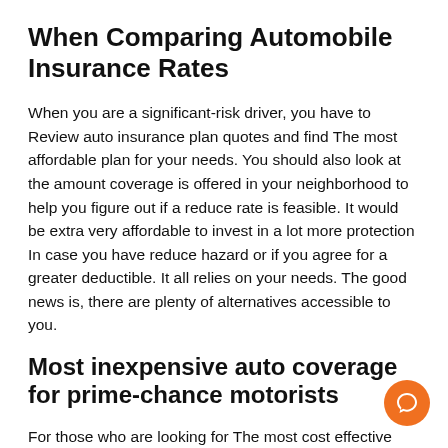When Comparing Automobile Insurance Rates
When you are a significant-risk driver, you have to Review auto insurance plan quotes and find The most affordable plan for your needs. You should also look at the amount coverage is offered in your neighborhood to help you figure out if a reduce rate is feasible. It would be extra very affordable to invest in a lot more protection In case you have reduce hazard or if you agree for a greater deductible. It all relies on your needs. The good news is, there are plenty of alternatives accessible to you.
Most inexpensive auto coverage for prime-chance motorists
For those who are looking for The most cost effective vehicle insurance coverage quotation for high-danger motorists, you're in luck. You can easily locate a single by